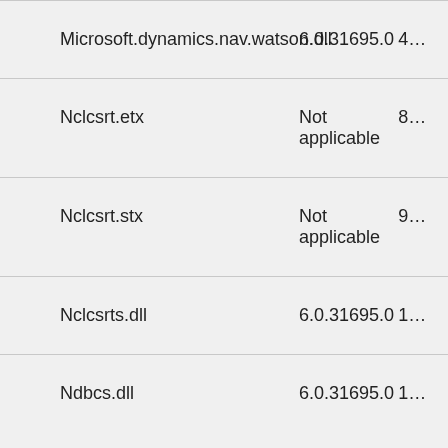| File name | File version | File size |
| --- | --- | --- |
| Microsoft.dynamics.nav.watson.dll | 6.0.31695.0 | 4… |
| Nclcsrt.etx | Not applicable | 8… |
| Nclcsrt.stx | Not applicable | 9… |
| Nclcsrts.dll | 6.0.31695.0 | 1… |
| Ndbcs.dll | 6.0.31695.0 | 1… |